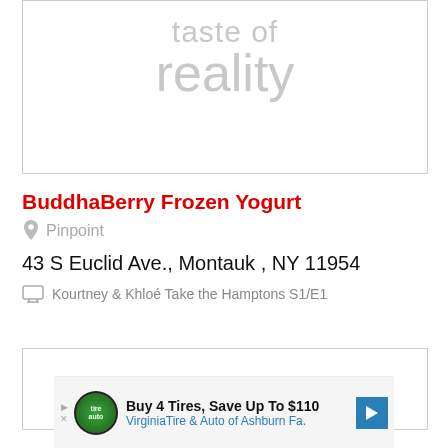[Figure (illustration): White box with light gray watermark text: 'taste of' on first line and 'reality' in larger text below]
BuddhaBerry Frozen Yogurt
Pinpoint
43 S Euclid Ave., Montauk , NY 11954
Kourtney & Khloé Take the Hamptons S1/E1
[Figure (other): Empty white bordered box]
Buy 4 Tires, Save Up To $110 VirginiaTire & Auto of Ashburn Fa.